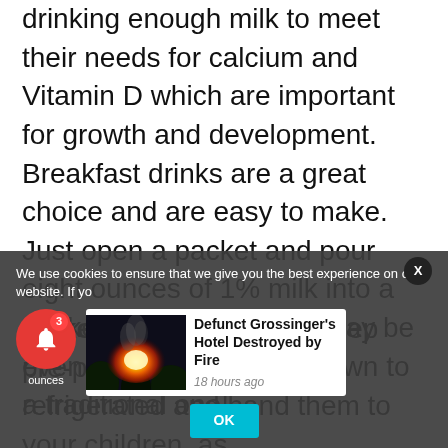drinking enough milk to meet their needs for calcium and Vitamin D which are important for growth and development. Breakfast drinks are a great choice and are easy to make. Just open a packet and pour eight ounces of 1% milk into a shaker. Drinking a meal may be even faster than sitting down to a traditional one!
Make-Ahead Parfaits. Keep pre-prepared parfaits refrigerated and hand them to your children, as
[Figure (screenshot): Cookie consent banner overlay with notification bell (red circle with bell icon and badge '3'), news card showing 'Defunct Grossinger's Hotel Destroyed by Fire' with fire thumbnail image and '18 hours ago' timestamp, and an OK button. Close X button in top-right corner.]